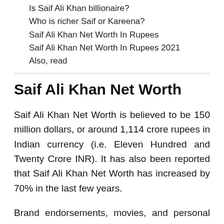Is Saif Ali Khan billionaire?
Who is richer Saif or Kareena?
Saif Ali Khan Net Worth In Rupees
Saif Ali Khan Net Worth In Rupees 2021
Also, read
Saif Ali Khan Net Worth
Saif Ali Khan Net Worth is believed to be 150 million dollars, or around 1,114 crore rupees in Indian currency (i.e. Eleven Hundred and Twenty Crore INR). It has also been reported that Saif Ali Khan Net Worth has increased by 70% in the last few years.
Brand endorsements, movies, and personal investments account for the majority of his revenue.